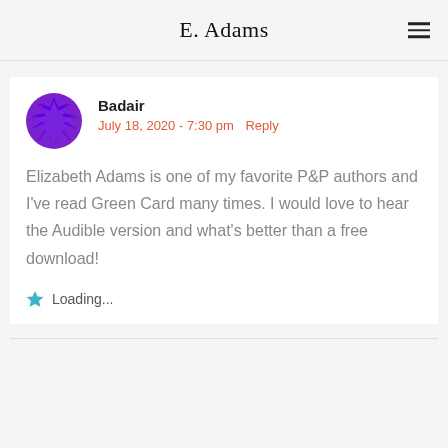E. Adams
Badair
July 18, 2020 - 7:30 pm  Reply
Elizabeth Adams is one of my favorite P&P authors and I've read Green Card many times. I would love to hear the Audible version and what's better than a free download!
Loading...